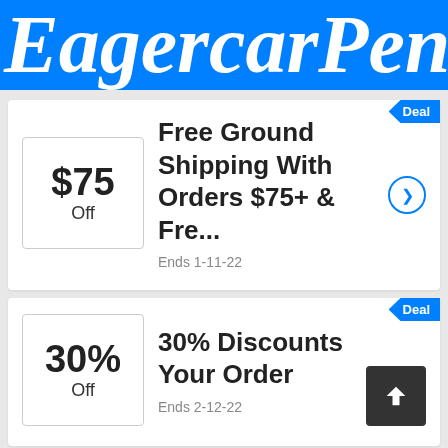EagercarPent
Deal
Free Ground Shipping With Orders $75+ & Fre...
Ends 1-11-22
Deal
30% Discounts Your Order
Ends 2-12-22